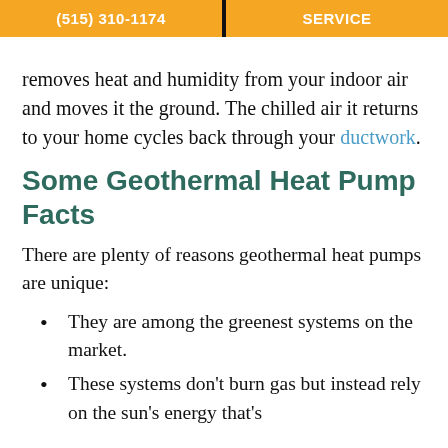(515) 310-1174   SERVICE
removes heat and humidity from your indoor air and moves it the ground. The chilled air it returns to your home cycles back through your ductwork.
Some Geothermal Heat Pump Facts
There are plenty of reasons geothermal heat pumps are unique:
They are among the greenest systems on the market.
These systems don't burn gas but instead rely on the sun's energy that's